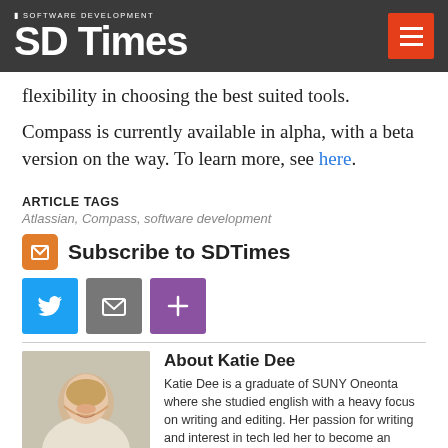SD Times - Software Development
flexibility in choosing the best suited tools.
Compass is currently available in alpha, with a beta version on the way. To learn more, see here.
ARTICLE TAGS
Atlassian, Compass, software development
Subscribe to SDTimes
[Figure (infographic): Social sharing buttons: Twitter (blue), Email (gray), More (purple)]
About Katie Dee
[Figure (photo): Photo of Katie Dee, a young woman smiling]
Katie Dee is a graduate of SUNY Oneonta where she studied english with a heavy focus on writing and editing. Her passion for writing and interest in tech led her to become an Online and Social Media Editor for SD Times. She is also a lifelong...